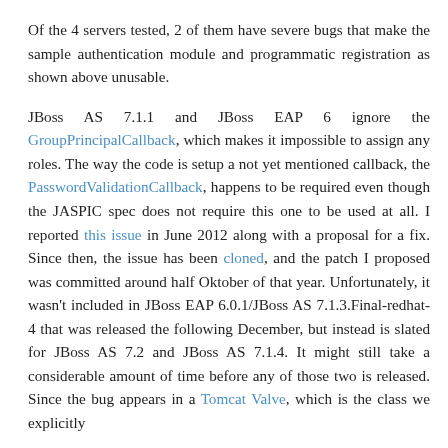Of the 4 servers tested, 2 of them have severe bugs that make the sample authentication module and programmatic registration as shown above unusable.
JBoss AS 7.1.1 and JBoss EAP 6 ignore the GroupPrincipalCallback, which makes it impossible to assign any roles. The way the code is setup a not yet mentioned callback, the PasswordValidationCallback, happens to be required even though the JASPIC spec does not require this one to be used at all. I reported this issue in June 2012 along with a proposal for a fix. Since then, the issue has been cloned, and the patch I proposed was committed around half Oktober of that year. Unfortunately, it wasn't included in JBoss EAP 6.0.1/JBoss AS 7.1.3.Final-redhat-4 that was released the following December, but instead is slated for JBoss AS 7.2 and JBoss AS 7.1.4. It might still take a considerable amount of time before any of those two is released. Since the bug appears in a Tomcat Valve, which is the class we explicitly